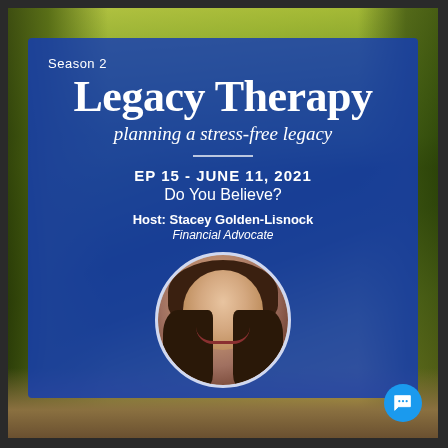[Figure (illustration): Podcast cover art for Legacy Therapy Season 2, Episode 15. Blue overlay panel on a nature background (tree-lined path) with text and circular headshot photo of host Stacey Golden-Lisnock. Title reads 'Legacy Therapy – planning a stress-free legacy', Episode 15, June 11 2021, Do You Believe?]
Season 2
Legacy Therapy
planning a stress-free legacy
EP 15 - JUNE 11, 2021
Do You Believe?
Host: Stacey Golden-Lisnock
Financial Advocate